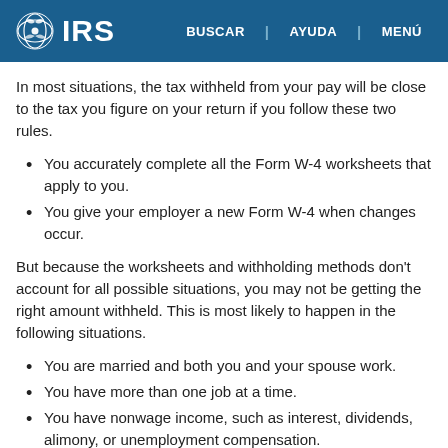IRS | BUSCAR | AYUDA | MENÚ
In most situations, the tax withheld from your pay will be close to the tax you figure on your return if you follow these two rules.
You accurately complete all the Form W-4 worksheets that apply to you.
You give your employer a new Form W-4 when changes occur.
But because the worksheets and withholding methods don't account for all possible situations, you may not be getting the right amount withheld. This is most likely to happen in the following situations.
You are married and both you and your spouse work.
You have more than one job at a time.
You have nonwage income, such as interest, dividends, alimony, or unemployment compensation.